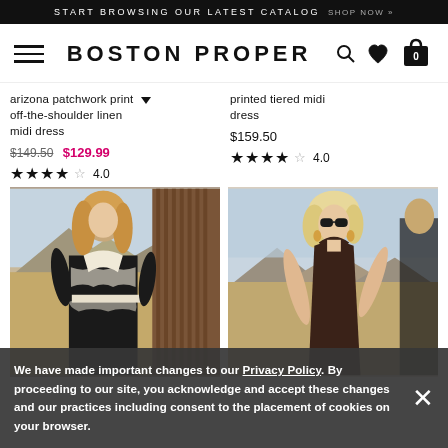START BROWSING OUR LATEST CATALOG  SHOP NOW »
BOSTON PROPER
arizona patchwork print off-the-shoulder linen midi dress  $149.50  $129.99  ★★★★ 4.0
printed tiered midi dress  $159.50  ★★★★ 4.0
[Figure (photo): Model wearing black and white patchwork print off-the-shoulder linen midi dress with white belt, standing outdoors with mountains in background]
[Figure (photo): Model wearing dark brown printed tiered midi dress with sunglasses, standing outdoors with mountains in background]
We have made important changes to our Privacy Policy. By proceeding to our site, you acknowledge and accept these changes and our practices including consent to the placement of cookies on your browser.